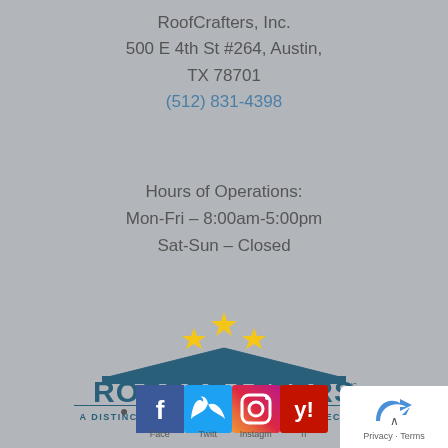RoofCrafters, Inc.
500 E 4th St #264, Austin,
TX 78701
(512) 831-4398
Hours of Operations:
Mon-Fri – 8:00am-5:00pm
Sat-Sun – Closed
[Figure (logo): RoofCrafters Inc. logo with roof shape, stars, and tagline 'A DISTINCTIVE LOOK AND SUPERIOR PROTECTION']
Facebook, Twitter, Instagram, Yelp social media icons
[Figure (other): Google Maps privacy badge with arrow icon and Privacy - Terms text]